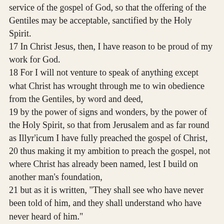service of the gospel of God, so that the offering of the Gentiles may be acceptable, sanctified by the Holy Spirit.
17 In Christ Jesus, then, I have reason to be proud of my work for God.
18 For I will not venture to speak of anything except what Christ has wrought through me to win obedience from the Gentiles, by word and deed,
19 by the power of signs and wonders, by the power of the Holy Spirit, so that from Jerusalem and as far round as Illyr'icum I have fully preached the gospel of Christ,
20 thus making it my ambition to preach the gospel, not where Christ has already been named, lest I build on another man's foundation,
21 but as it is written, "They shall see who have never been told of him, and they shall understand who have never heard of him."
Psalms 98:1-4
1 O sing to the LORD a new song, for he has done marvelous things! His right hand and his holy arm have gotten him victory.
2 The LORD has made known his victory, he has revealed his vindication in the sight of the nations.